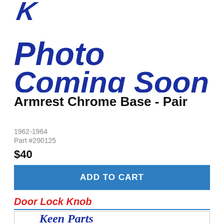[Figure (illustration): Photo Coming Soon! text in large bold blue italic font with a decorative logo mark above it, on white background]
Armrest Chrome Base - Pair
1962-1964
Part #290125
$40
ADD TO CART
Door Lock Knob
[Figure (logo): Keen Parts cursive logo in blue on white background]